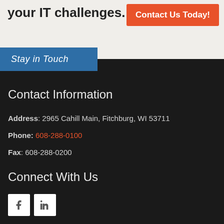your IT challenges.
Contact Us Today!
Stay in Touch
Contact Information
Address: 2965 Cahill Main, Fitchburg, WI 53711
Phone: 608-288-0100
Fax: 608-288-0200
Connect With Us
[Figure (other): Facebook and LinkedIn social media icon buttons (white squares with f and in symbols)]